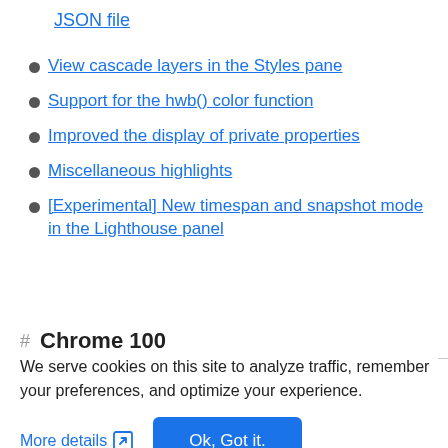JSON file
View cascade layers in the Styles pane
Support for the hwb() color function
Improved the display of private properties
Miscellaneous highlights
[Experimental] New timespan and snapshot mode in the Lighthouse panel
Chrome 100
We serve cookies on this site to analyze traffic, remember your preferences, and optimize your experience.
More details
Ok, Got it.